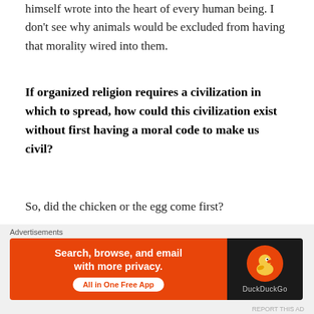himself wrote into the heart of every human being. I don't see why animals would be excluded from having that morality wired into them.
If organized religion requires a civilization in which to spread, how could this civilization exist without first having a moral code to make us civil?
So, did the chicken or the egg come first?
Seriously, though, this question seems to imply is that religion can't exist without society, but society can exist without religion.  The truth is probably more complex than the question implies, and much more complex than I have time for in this post.  I might dive into this more deeply in a
[Figure (infographic): DuckDuckGo advertisement banner: orange background on left with text 'Search, browse, and email with more privacy. All in One Free App', DuckDuckGo logo on dark right panel]
Advertisements